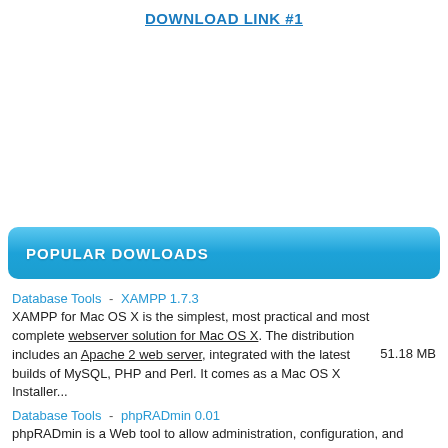DOWNLOAD LINK #1
[Figure (other): Advertisement/blank area]
POPULAR DOWLOADS
Database Tools  -  XAMPP 1.7.3
XAMPP for Mac OS X is the simplest, most practical and most complete webserver solution for Mac OS X. The distribution includes an Apache 2 web server, integrated with the latest builds of MySQL, PHP and Perl. It comes as a Mac OS X Installer...  51.18 MB
Database Tools  -  phpRADmin 0.01
phpRADmin is a Web tool to allow administration, configuration, and provisioning